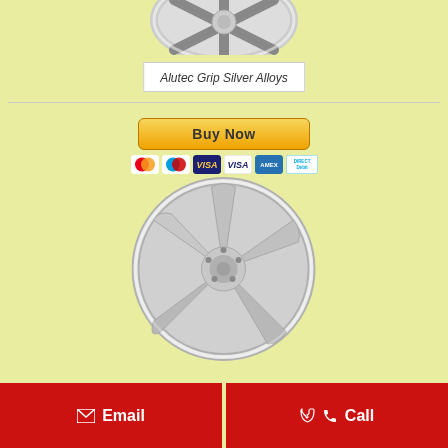[Figure (photo): Partial view of a silver alloy wheel (top portion), cross-spoked design]
Alutec Grip Silver Alloys
[Figure (infographic): Buy Now button with payment method icons: MasterCard, Maestro, Visa, Visa Electron, American Express, Direct Debit]
[Figure (photo): Silver 5-spoke alloy wheel - Alutec Grip]
Email
Call